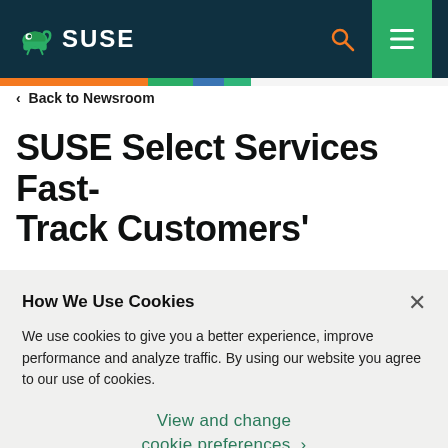SUSE
< Back to Newsroom
SUSE Select Services Fast-Track Customers'
How We Use Cookies
We use cookies to give you a better experience, improve performance and analyze traffic. By using our website you agree to our use of cookies.
View and change cookie preferences >